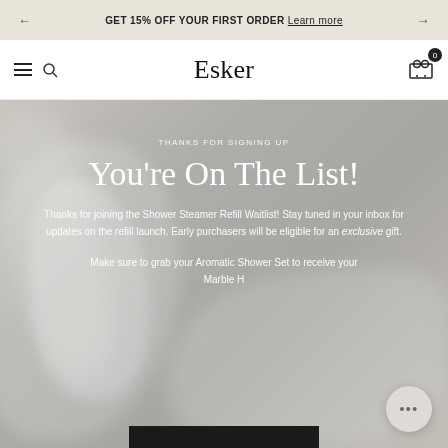GET 15% OFF YOUR FIRST ORDER Learn more
[Figure (screenshot): Esker brand website navigation bar with hamburger menu, search icon, Esker logo, and cart icon with badge showing 0]
[Figure (photo): Hero section with blurred shower steamer/soap background image in greyscale tones]
THANKS FOR SIGNING UP
You're On The List!
Thanks for joining the Shower Steamer Refill Waitlist! Stay tuned in your inbox for updates on the refill launch. Early purchasers will be eligible for an exclusive gift.
Make sure to grab your Aromatic Shower Set to receive your Marble H...